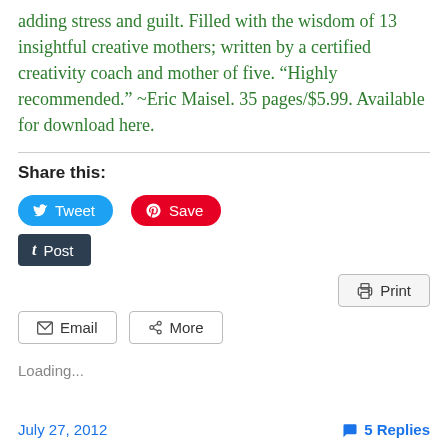adding stress and guilt. Filled with the wisdom of 13 insightful creative mothers; written by a certified creativity coach and mother of five. “Highly recommended.” ~Eric Maisel. 35 pages/$5.99. Available for download here.
Share this:
[Figure (screenshot): Social sharing buttons: Tweet (blue), Save (red Pinterest), Post (dark Tumblr), Print (gray), Email (gray), More (gray)]
Loading...
July 27, 2012   5 Replies